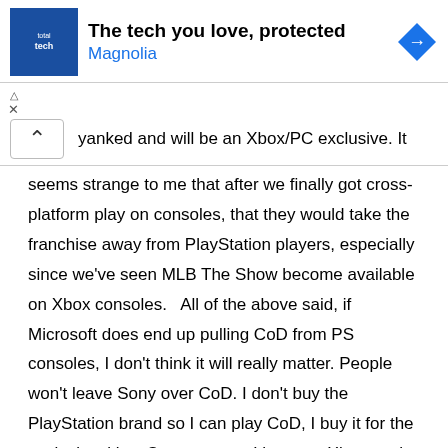[Figure (other): Advertisement banner for Best Buy Total Tech / Magnolia with logo and navigation arrow icon. Text: 'The tech you love, protected' and 'Magnolia']
yanked and will be an Xbox/PC exclusive. It seems strange to me that after we finally got cross-platform play on consoles, that they would take the franchise away from PlayStation players, especially since we've seen MLB The Show become available on Xbox consoles.   All of the above said, if Microsoft does end up pulling CoD from PS consoles, I don't think it will really matter. People won't leave Sony over CoD. I don't buy the PlayStation brand so I can play CoD, I buy it for the exclusive titles. Same reason I have an Xbox on the side. There are some games I want to play, but